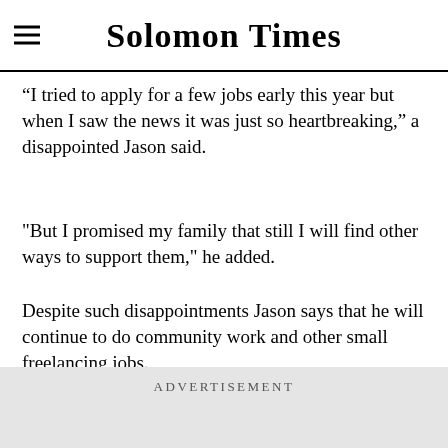Solomon Times
“I tried to apply for a few jobs early this year but when I saw the news it was just so heartbreaking,” a disappointed Jason said.
"But I promised my family that still I will find other ways to support them," he added.
Despite such disappointments Jason says that he will continue to do community work and other small freelancing jobs.
ADVERTISEMENT